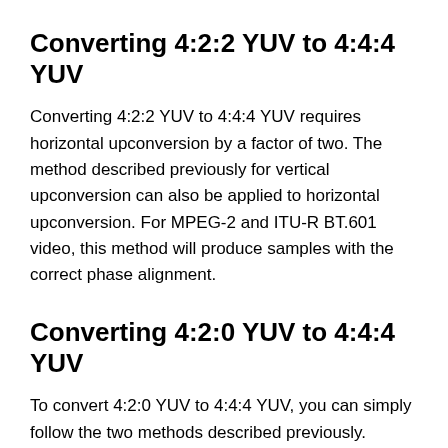Converting 4:2:2 YUV to 4:4:4 YUV
Converting 4:2:2 YUV to 4:4:4 YUV requires horizontal upconversion by a factor of two. The method described previously for vertical upconversion can also be applied to horizontal upconversion. For MPEG-2 and ITU-R BT.601 video, this method will produce samples with the correct phase alignment.
Converting 4:2:0 YUV to 4:4:4 YUV
To convert 4:2:0 YUV to 4:4:4 YUV, you can simply follow the two methods described previously. Convert the 4:2:0 image to 4:2:2, and then convert the 4:2:2 image to 4:4:4. You can also switch the order of the two upconversion processes, as the order of operation does not really matter to the visual quality of the result.